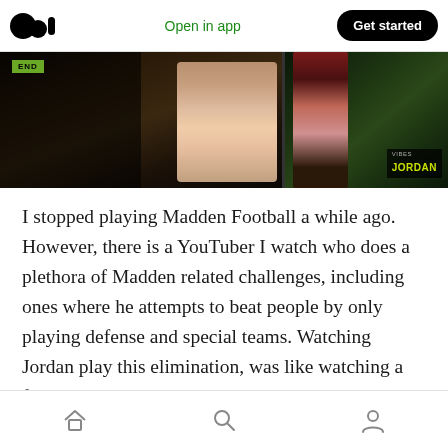Medium logo | Open in app | Get started
[Figure (photo): Two side-by-side video thumbnails. Left shows a man in a pink shirt in a dark outdoor setting with a yellow-green graphic overlay. Right shows a woman in a dark outdoor setting with a 'JORDAN' name label overlay.]
I stopped playing Madden Football a while ago. However, there is a YouTuber I watch who does a plethora of Madden related challenges, including ones where he attempts to beat people by only playing defense and special teams. Watching Jordan play this elimination, was like watching a football team try to win a game where they run the QB Kneel every play on offense.
Home | Search | Profile